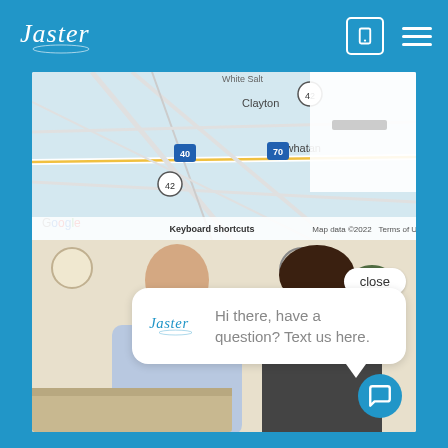[Figure (logo): Jaster logo in white script on blue header bar]
[Figure (screenshot): Google Maps screenshot showing Clayton, Powhatan area with roads 40, 70, 42. Map data ©2022. Keyboard shortcuts and Terms of Use labels visible.]
[Figure (photo): Photo of a smiling bald man in a light blue shirt sitting across from a woman with dark curly hair in what appears to be a medical or business office setting with a clock on the wall and pink orchid flowers.]
close
[Figure (logo): Jaster logo in blue script inside chat bubble]
Hi there, have a question? Text us here.